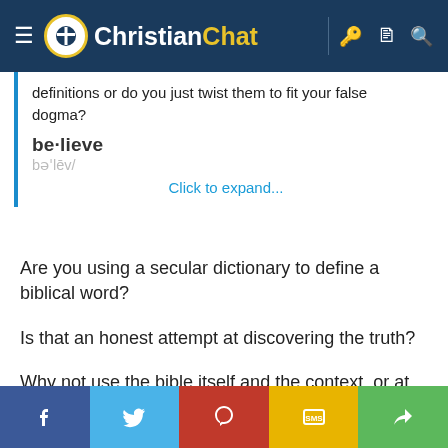Christian Chat
definitions or do you just twist them to fit your false dogma?
be·lieve
bəˈlēv/
Click to expand...
Are you using a secular dictionary to define a biblical word?
Is that an honest attempt at discovering the truth?
Why not use the bible itself and the context, or at least use a bible study concordance or lexicon.
Share buttons: Facebook, Twitter, Pinterest, SMS, Share